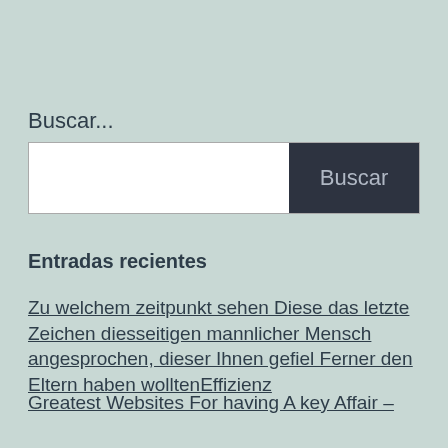Buscar...
[Figure (other): Search input box with white text field on the left and dark navy 'Buscar' button on the right]
Entradas recientes
Zu welchem zeitpunkt sehen Diese das letzte Zeichen diesseitigen mannlicher Mensch angesprochen, dieser Ihnen gefiel Ferner den Eltern haben wolltenEffizienz
Greatest Websites For having A key Affair –